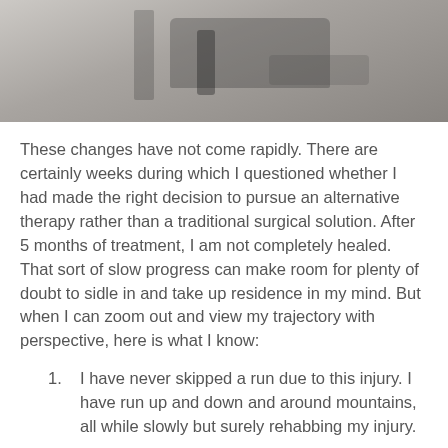[Figure (photo): Partial view of medical or fitness equipment, appears to be blood flow restriction (BFR) therapy device, gray tones]
These changes have not come rapidly. There are certainly weeks during which I questioned whether I had made the right decision to pursue an alternative therapy rather than a traditional surgical solution. After 5 months of treatment, I am not completely healed. That sort of slow progress can make room for plenty of doubt to sidle in and take up residence in my mind. But when I can zoom out and view my trajectory with perspective, here is what I know:
I have never skipped a run due to this injury. I have run up and down and around mountains, all while slowly but surely rehabbing my injury.
When I started BFR, I was at my normal strength level as a runner; yes, I had pain, but I was not